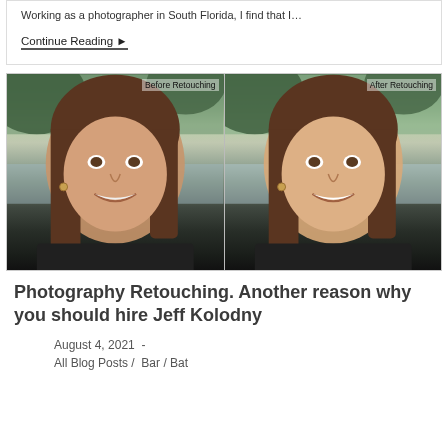Working as a photographer in South Florida, I find that I…
Continue Reading ▸
[Figure (photo): Side-by-side before and after retouching comparison photos of a woman smiling, labeled 'Before Retouching' on the left half and 'After Retouching' on the right half. The after version appears brighter and more polished.]
Photography Retouching. Another reason why you should hire Jeff Kolodny
August 4, 2021  -
All Blog Posts /  Bar / Bat